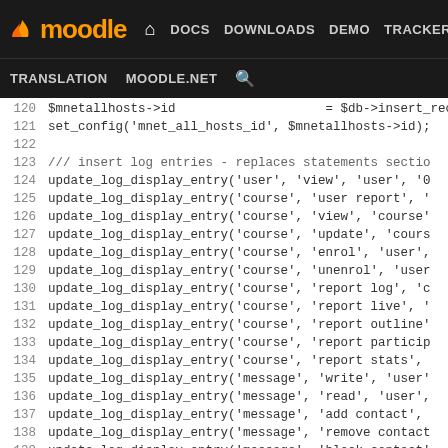Moodle DEV navigation bar with links: DOCS, DOWNLOADS, DEMO, TRACKER, DEV, TRANSLATION, MOODLE.NET, search
[Figure (screenshot): Moodle developer site top navigation bar showing logo and nav links]
Code listing lines 120-146 showing PHP update_log_display_entry function calls and comments